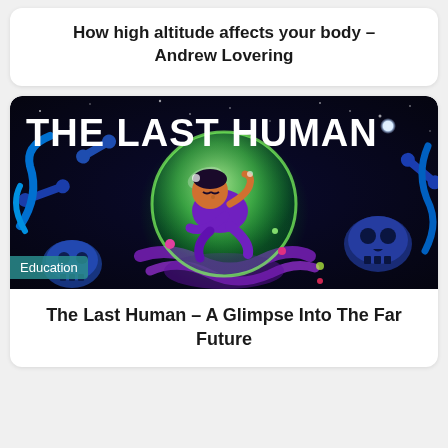How high altitude affects your body – Andrew Lovering
[Figure (illustration): Thumbnail image for 'The Last Human' video. Dark space background with a glowing green orb containing a human figure curled inside. Surrounding the orb are stylized blue bones, skulls, and colorful abstract shapes. White bold text at top reads 'THE LAST HUMAN'. Teal badge in bottom-left reads 'Education'.]
The Last Human – A Glimpse Into The Far Future